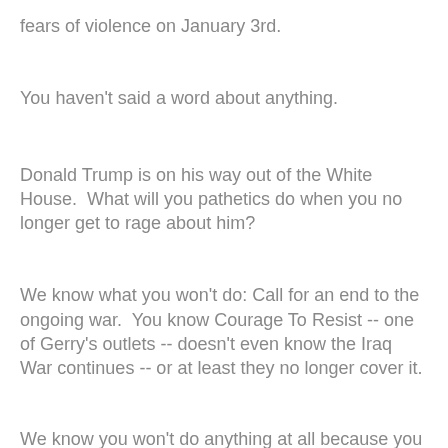fears of violence on January 3rd.
You haven't said a word about anything.
Donald Trump is on his way out of the White House.  What will you pathetics do when you no longer get to rage about him?
We know what you won't do: Call for an end to the ongoing war.  You know Courage To Resist -- one of Gerry's outlets -- doesn't even know the Iraq War continues -- or at least they no longer cover it.
We know you won't do anything at all because you honestly never do.